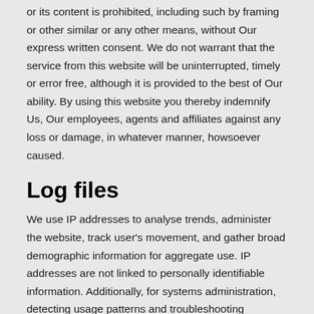or its content is prohibited, including such by framing or other similar or any other means, without Our express written consent. We do not warrant that the service from this website will be uninterrupted, timely or error free, although it is provided to the best of Our ability. By using this website you thereby indemnify Us, Our employees, agents and affiliates against any loss or damage, in whatever manner, howsoever caused.
Log files
We use IP addresses to analyse trends, administer the website, track user's movement, and gather broad demographic information for aggregate use. IP addresses are not linked to personally identifiable information. Additionally, for systems administration, detecting usage patterns and troubleshooting purposes, Our web servers automatically log standard access